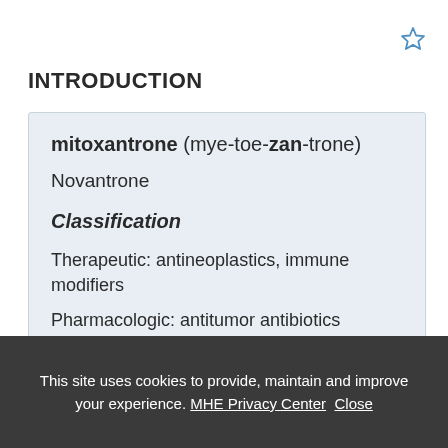INTRODUCTION
mitoxantrone (mye-toe-zan-trone)
Novantrone
Classification
Therapeutic: antineoplastics, immune modifiers
Pharmacologic: antitumor antibiotics
This site uses cookies to provide, maintain and improve your experience. MHE Privacy Center  Close